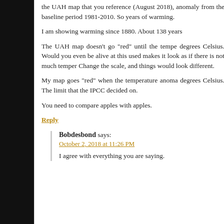the UAH map that you reference (August 2018), anomaly from the baseline period 1981-2010. So years of warming.
I am showing warming since 1880. About 138 years
The UAH map doesn’t go “red” until the tempe degrees Celsius. Would you even be alive at this used makes it look as if there is not much temper Change the scale, and things would look different.
My map goes “red” when the temperature anoma degrees Celsius. The limit that the IPCC decided on.
You need to compare apples with apples.
Reply
Bobdesbond says:
October 2, 2018 at 11:26 PM
I agree with everything you are saying.